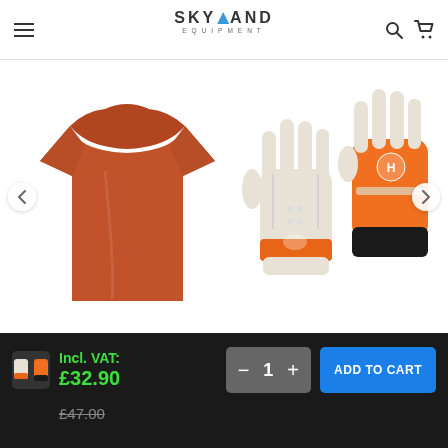Skyland Equipment — navigation header with logo, menu, search, and cart icons
[Figure (photo): Orange/rust-colored crew-neck t-shirt product photo on white background]
[Figure (photo): Pair of work gloves — white leather palm with orange hi-vis back, Husqvarna style, on white background]
Incl. VAT: £32.90
ADD TO CART
£47.00